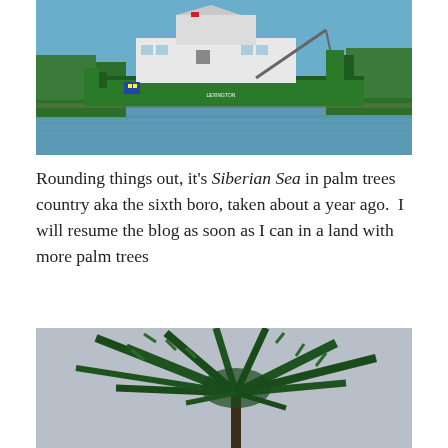[Figure (photo): A green and white river barge/dredge vessel named 'Lexington' on a river with tree-lined banks and blue sky. The vessel is green-hulled with white superstructure and equipment on deck.]
Rounding things out, it's Siberian Sea in palm trees country aka the sixth boro, taken about a year ago.  I will resume the blog as soon as I can in a land with more palm trees
[Figure (photo): Close-up photograph of a palm tree with long fronds against a pale grey-blue sky.]